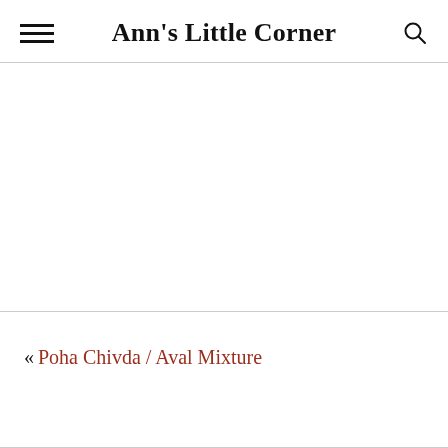Ann's Little Corner
[Figure (other): Empty white content area (image placeholder)]
« Poha Chivda / Aval Mixture